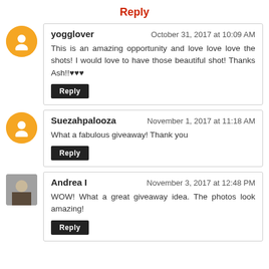Reply
yogglover
October 31, 2017 at 10:09 AM
This is an amazing opportunity and love love love the shots! I would love to have those beautiful shot! Thanks Ash!!♥♥♥
Suezahpalooza
November 1, 2017 at 11:18 AM
What a fabulous giveaway! Thank you
Andrea I
November 3, 2017 at 12:48 PM
WOW! What a great giveaway idea. The photos look amazing!